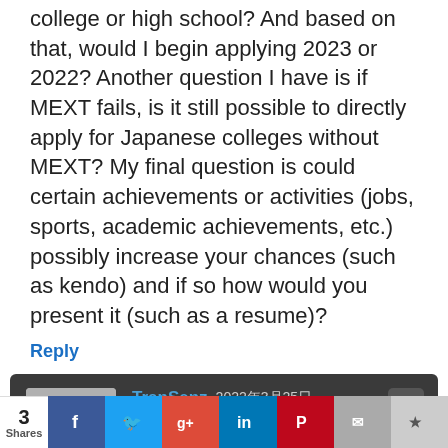college or high school? And based on that, would I begin applying 2023 or 2022? Another question I have is if MEXT fails, is it still possible to directly apply for Japanese colleges without MEXT? My final question is could certain achievements or activities (jobs, sports, academic achievements, etc.) possibly increase your chances (such as kendo) and if so how would you present it (such as a resume)?
Reply
TranSenz 2022年3月25日
Hi Irfan Hossain,
It sounds like you're applying for the undergraduate MEXT